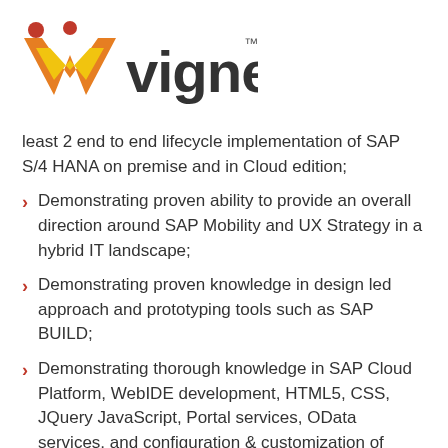[Figure (logo): Vignetic company logo with stylized V in orange/red/yellow and text 'vignetic' with TM mark]
least 2 end to end lifecycle implementation of SAP S/4 HANA on premise and in Cloud edition;
Demonstrating proven ability to provide an overall direction around SAP Mobility and UX Strategy in a hybrid IT landscape;
Demonstrating proven knowledge in design led approach and prototyping tools such as SAP BUILD;
Demonstrating thorough knowledge in SAP Cloud Platform, WebIDE development, HTML5, CSS, JQuery JavaScript, Portal services, OData services, and configuration & customization of standard Fiori applications and Launchpad;
Demonstrating proven ability using API designer and